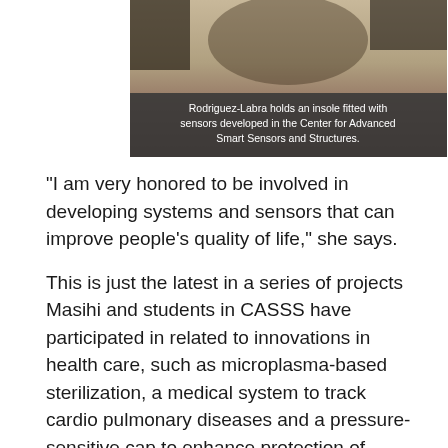[Figure (photo): Photo of Rodriguez-Labra holding an insole fitted with sensors developed in the Center for Advanced Smart Sensors and Structures. A dark translucent overlay at the bottom shows the caption text in white.]
Rodriguez-Labra holds an insole fitted with sensors developed in the Center for Advanced Smart Sensors and Structures.
"I am very honored to be involved in developing systems and sensors that can improve people's quality of life," she says.
This is just the latest in a series of projects Masihi and students in CASSS have participated in related to innovations in health care, such as microplasma-based sterilization, a medical system to track cardio pulmonary diseases and a pressure-sensitive cap to enhance protection of athletes.
"We've been attempting to use these sensors and software to solve the issues people face daily and bring them to market," says Masihi.